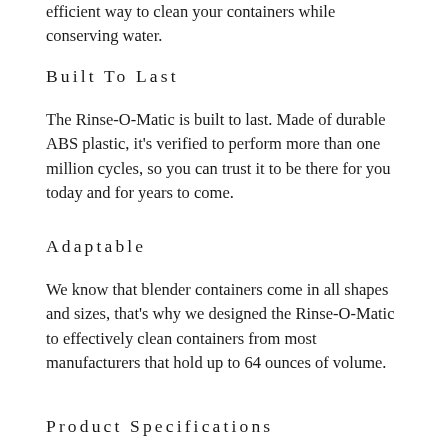efficient way to clean your containers while conserving water.
Built To Last
The Rinse-O-Matic is built to last. Made of durable ABS plastic, it's verified to perform more than one million cycles, so you can trust it to be there for you today and for years to come.
Adaptable
We know that blender containers come in all shapes and sizes, that's why we designed the Rinse-O-Matic to effectively clean containers from most manufacturers that hold up to 64 ounces of volume.
Product Specifications